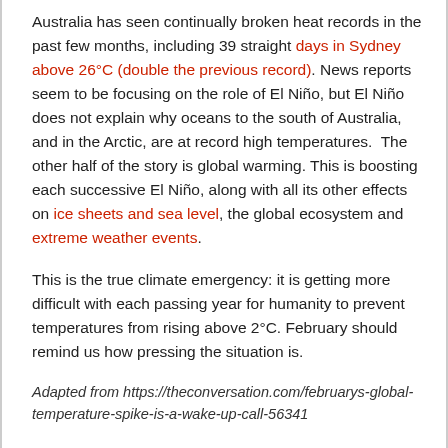Australia has seen continually broken heat records in the past few months, including 39 straight days in Sydney above 26°C (double the previous record). News reports seem to be focusing on the role of El Niño, but El Niño does not explain why oceans to the south of Australia, and in the Arctic, are at record high temperatures.  The other half of the story is global warming. This is boosting each successive El Niño, along with all its other effects on ice sheets and sea level, the global ecosystem and extreme weather events.
This is the true climate emergency: it is getting more difficult with each passing year for humanity to prevent temperatures from rising above 2°C. February should remind us how pressing the situation is.
Adapted from https://theconversation.com/februarys-global-temperature-spike-is-a-wake-up-call-56341